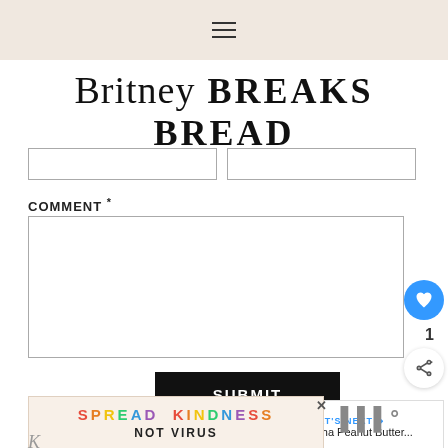☰ (hamburger menu icon)
Britney BREAKS BREAD
COMMENT *
SUBMIT
[Figure (infographic): SPREAD KINDNESS NOT VIRUS advertisement banner]
WHAT'S NEXT → Mocha Peanut Butter...